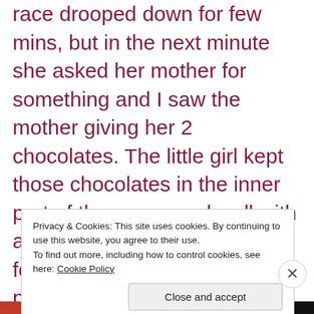race drooped down for few mins, but in the next minute she asked her mother for something and I saw the mother giving her 2 chocolates. The little girl kept those chocolates in the inner part of the compound wall with a brilliant smile as if she had found a solution for a big problem. She then looked around probably waiting to spot someone in the house. The window glass being tinted in quality, did not allow her to see inside. They
Privacy & Cookies: This site uses cookies. By continuing to use this website, you agree to their use.
To find out more, including how to control cookies, see here: Cookie Policy
Close and accept